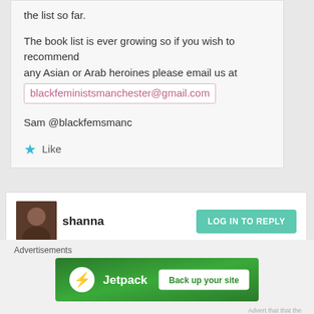the list so far.
The book list is ever growing so if you wish to recommend any Asian or Arab heroines please email us at blackfeministsmanchester@gmail.com
Sam @blackfemsmanc
Like
shanna
September 20, 2013 at 16:26
LOG IN TO REPLY
Advertisements
[Figure (screenshot): Jetpack advertisement banner with logo and 'Back up your site' button on green background]